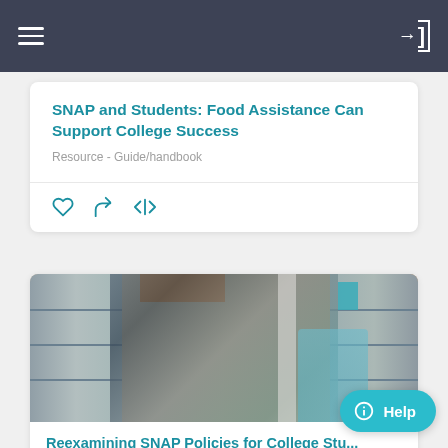Navigation bar with menu and login icons
SNAP and Students: Food Assistance Can Support College Success
Resource - Guide/handbook
[Figure (other): Action icons: heart (like), share (arrow), embed (code tag)]
[Figure (photo): Three people talking in a grocery store aisle with shelves of products on both sides]
Reexamining SNAP Policies for College Stu...
Story - [logo] Original